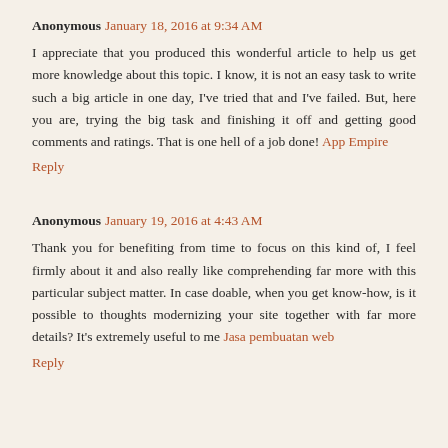Anonymous  January 18, 2016 at 9:34 AM
I appreciate that you produced this wonderful article to help us get more knowledge about this topic. I know, it is not an easy task to write such a big article in one day, I've tried that and I've failed. But, here you are, trying the big task and finishing it off and getting good comments and ratings. That is one hell of a job done! App Empire
Reply
Anonymous  January 19, 2016 at 4:43 AM
Thank you for benefiting from time to focus on this kind of, I feel firmly about it and also really like comprehending far more with this particular subject matter. In case doable, when you get know-how, is it possible to thoughts modernizing your site together with far more details? It's extremely useful to me Jasa pembuatan web
Reply